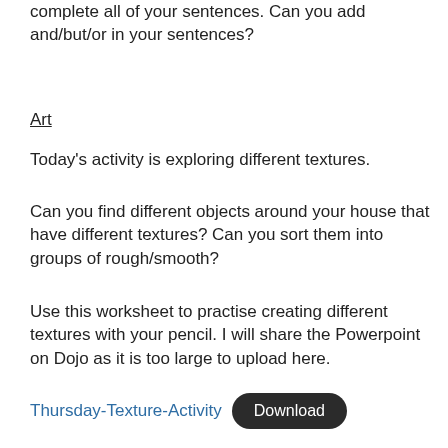complete all of your sentences. Can you add and/but/or in your sentences?
Art
Today's activity is exploring different textures.
Can you find different objects around your house that have different textures? Can you sort them into groups of rough/smooth?
Use this worksheet to practise creating different textures with your pencil. I will share the Powerpoint on Dojo as it is too large to upload here.
Thursday-Texture-Activity  Download
Remember to post your work on your portfolio!
I will be answering messages if you need me 😊 Have